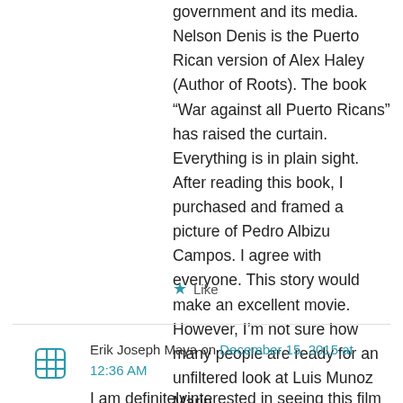government and its media. Nelson Denis is the Puerto Rican version of Alex Haley (Author of Roots). The book “War against all Puerto Ricans” has raised the curtain. Everything is in plain sight. After reading this book, I purchased and framed a picture of Pedro Albizu Campos. I agree with everyone. This story would make an excellent movie. However, I’m not sure how many people are ready for an unfiltered look at Luis Munoz Marin.
★ Like
Erik Joseph Maya on December 15, 2015 at 12:36 AM
I am definitelvinterested in seeing this film